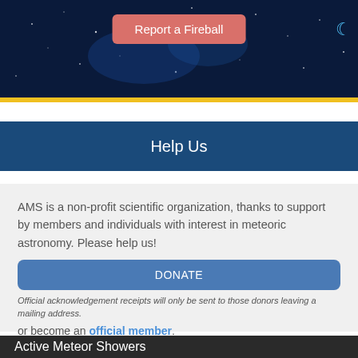[Figure (photo): Dark blue space/night sky hero banner with stars]
Help Us
AMS is a non-profit scientific organization, thanks to support by members and individuals with interest in meteoric astronomy. Please help us!
DONATE
Official acknowledgement receipts will only be sent to those donors leaving a mailing address.
or become an official member.
Active Meteor Showers